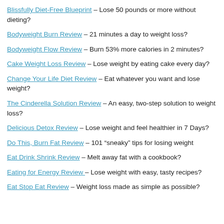Blissfully Diet-Free Blueprint – Lose 50 pounds or more without dieting?
Bodyweight Burn Review – 21 minutes a day to weight loss?
Bodyweight Flow Review – Burn 53% more calories in 2 minutes?
Cake Weight Loss Review – Lose weight by eating cake every day?
Change Your Life Diet Review – Eat whatever you want and lose weight?
The Cinderella Solution Review – An easy, two-step solution to weight loss?
Delicious Detox Review – Lose weight and feel healthier in 7 Days?
Do This, Burn Fat Review – 101 “sneaky” tips for losing weight
Eat Drink Shrink Review – Melt away fat with a cookbook?
Eating for Energy Review – Lose weight with easy, tasty recipes?
Eat Stop Eat Review – Weight loss made as simple as possible?